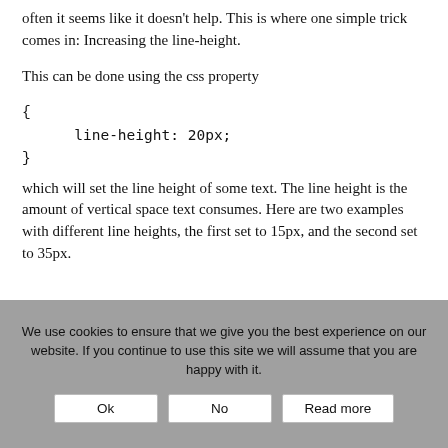often it seems like it doesn't help. This is where one simple trick comes in: Increasing the line-height.
This can be done using the css property
which will set the line height of some text. The line height is the amount of vertical space text consumes. Here are two examples with different line heights, the first set to 15px, and the second set to 35px.
We use cookies to ensure that we give you the best experience on our website. If you continue to use this site we will assume that you are happy with it.